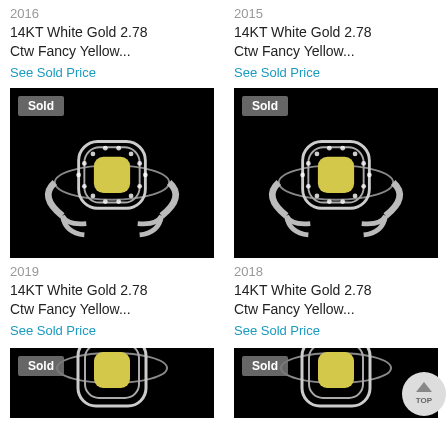2016
14KT White Gold 2.78 Ctw Fancy Yellow...
See Sold Price
2015
14KT White Gold 2.78 Ctw Fancy Yellow...
See Sold Price
[Figure (photo): White gold ring with fancy yellow center diamond and double halo of white diamonds, shown on black background with 'Sold' badge]
2019
14KT White Gold 2.78 Ctw Fancy Yellow...
See Sold Price
[Figure (photo): White gold ring with fancy yellow center diamond and double halo of white diamonds, shown on black background with 'Sold' badge]
2018
14KT White Gold 2.78 Ctw Fancy Yellow...
See Sold Price
[Figure (photo): White gold ring with fancy yellow center diamond, black background, 'Sold' badge, partial view at bottom]
[Figure (photo): White gold ring with fancy yellow center diamond, black background, 'Sold' badge, partial view at bottom]